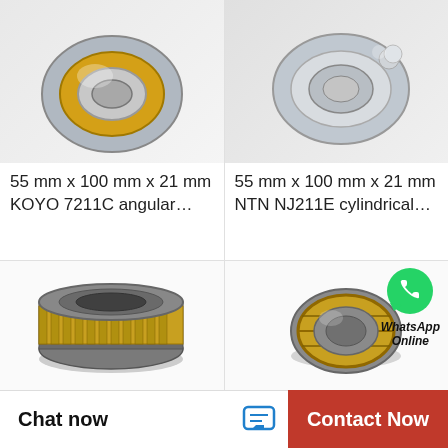[Figure (photo): KOYO 7211C angular contact bearing, gold cage visible, silver cylindrical body, close-up product shot]
[Figure (photo): NTN NJ211E cylindrical roller bearing, silver metallic, angular contact design, close-up product shot]
55 mm x 100 mm x 21 mm
KOYO 7211C angular…
55 mm x 100 mm x 21 mm
NTN NJ211E cylindrical…
[Figure (photo): Cylindrical roller bearing with gold cage, dark steel outer ring, viewed at angle]
[Figure (photo): Spherical roller bearing with gold cage, with WhatsApp Online overlay badge]
Chat now
Contact Now